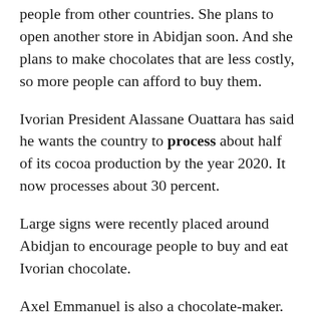people from other countries. She plans to open another store in Abidjan soon. And she plans to make chocolates that are less costly, so more people can afford to buy them.
Ivorian President Alassane Ouattara has said he wants the country to process about half of its cocoa production by the year 2020. It now processes about 30 percent.
Large signs were recently placed around Abidjan to encourage people to buy and eat Ivorian chocolate.
Axel Emmanuel is also a chocolate-maker. He is a former banker. He says learning to make chocolate is not yet popular among Ivorians. He says that is because people believe chocolate is difficult and costly to make.